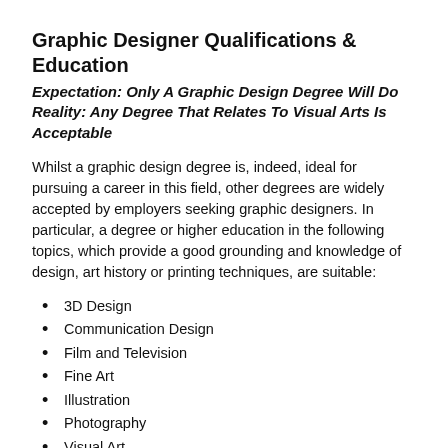Graphic Designer Qualifications & Education
Expectation: Only A Graphic Design Degree Will Do
Reality: Any Degree That Relates To Visual Arts Is Acceptable
Whilst a graphic design degree is, indeed, ideal for pursuing a career in this field, other degrees are widely accepted by employers seeking graphic designers. In particular, a degree or higher education in the following topics, which provide a good grounding and knowledge of design, art history or printing techniques, are suitable:
3D Design
Communication Design
Film and Television
Fine Art
Illustration
Photography
Visual Art
If you are lacking a formal education, it's not entirely out of fo...